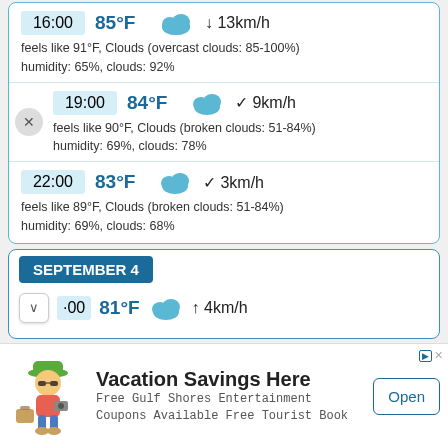16:00  85°F  ↓ 13km/h
feels like 91°F, Clouds (overcast clouds: 85-100%)
humidity: 65%, clouds: 92%
19:00  84°F  ↗ 9km/h
feels like 90°F, Clouds (broken clouds: 51-84%)
humidity: 69%, clouds: 78%
22:00  83°F  ↗ 3km/h
feels like 89°F, Clouds (broken clouds: 51-84%)
humidity: 69%, clouds: 68%
SEPTEMBER 4
:00  81°F  ↑ 4km/h
[Figure (infographic): Advertisement banner: Vacation Savings Here - Free Gulf Shores Entertainment Coupons Available Free Tourist Book, with cartoon character and Open button]